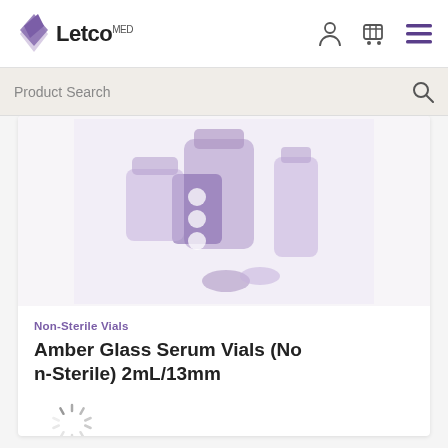[Figure (logo): Letco Med logo with purple geometric icon and bold text]
Product Search
[Figure (illustration): Purple illustration of pharmacy/medical vials and pill bottles on light background]
Non-Sterile Vials
Amber Glass Serum Vials (Non-Sterile) 2mL/13mm
[Figure (other): Loading spinner animation]